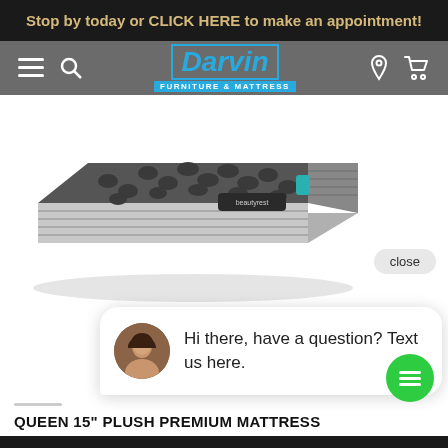Stop by today or CLICK HERE to make an appointment!
[Figure (logo): Darvin Furniture & Mattress logo with navigation bar icons (hamburger menu, search, location pin, cart)]
[Figure (photo): Queen 15 inch Plush Premium Mattress product photo showing dark gray tufted top with light gray striped sides]
[Figure (screenshot): Chat widget showing close button, avatar of woman, and message: Hi there, have a question? Text us here.]
QUEEN 15" PLUSH PREMIUM MATTRESS
ADD TO CART